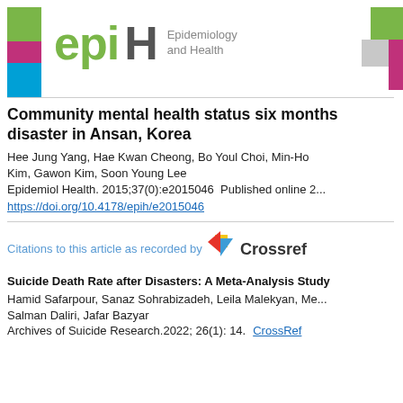[Figure (logo): epiH - Epidemiology and Health journal logo with colored squares decoration]
Community mental health status six months after disaster in Ansan, Korea
Hee Jung Yang, Hae Kwan Cheong, Bo Youl Choi, Min-Ho Kim, Gawon Kim, Soon Young Lee
Epidemiol Health. 2015;37(0):e2015046  Published online 2...
https://doi.org/10.4178/epih/e2015046
Citations to this article as recorded by Crossref
Suicide Death Rate after Disasters: A Meta-Analysis Study
Hamid Safarpour, Sanaz Sohrabizadeh, Leila Malekyan, Me... Salman Daliri, Jafar Bazyar
Archives of Suicide Research.2022; 26(1): 14.  CrossRef